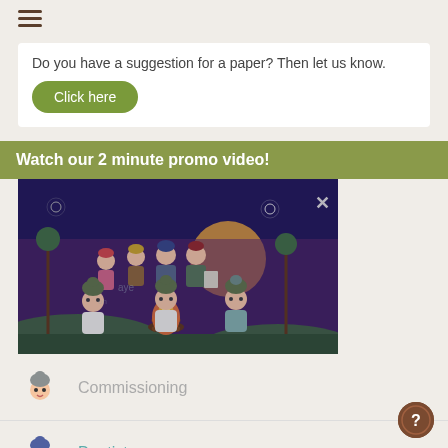Do you have a suggestion for a paper? Then let us know.
Click here
Watch our 2 minute promo video!
[Figure (illustration): Animated cartoon characters (gnome-like figures with hats) gathered around a campfire at night with trees and fireworks in the background. A close button (X) is visible in the top-right corner of the video frame.]
Commissioning
Dentistry